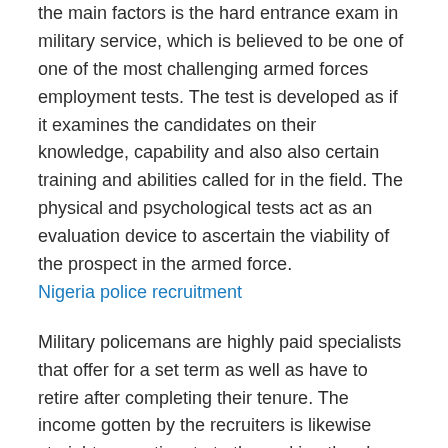the main factors is the hard entrance exam in military service, which is believed to be one of one of the most challenging armed forces employment tests. The test is developed as if it examines the candidates on their knowledge, capability and also also certain training and abilities called for in the field. The physical and psychological tests act as an evaluation device to ascertain the viability of the prospect in the armed force. Nigeria police recruitment
Military policemans are highly paid specialists that offer for a set term as well as have to retire after completing their tenure. The income gotten by the recruiters is likewise straight proportionate to the ranking they have attained in the army. So, if a policeman wishes to upgrade his/her ranking, then there is no lack of chances as the system is well linked to federal government policies. Another vital element bring about